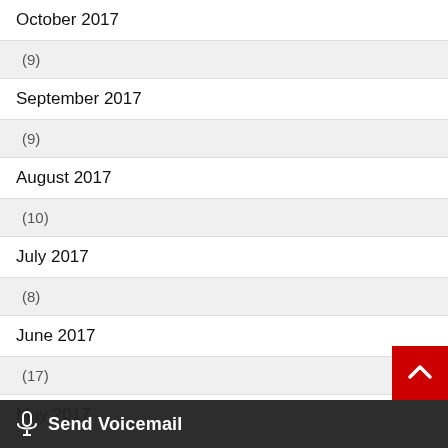October 2017
(9)
September 2017
(9)
August 2017
(10)
July 2017
(8)
June 2017
(17)
May 2017
(21)
[Figure (screenshot): Send Voicemail button bar at bottom of screen with microphone icon]